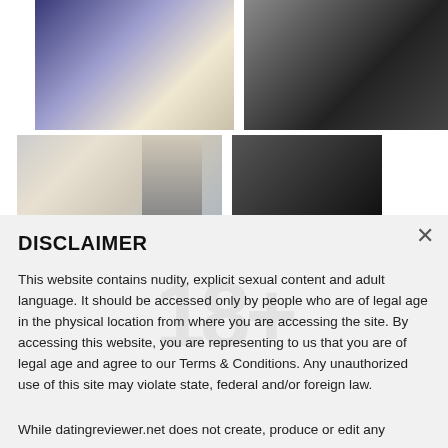[Figure (photo): Two photos in top row: left photo shows a person in blue/white clothing holding a box, right photo shows a person in dark clothing on a dark sofa with candlestick decor]
[Figure (photo): Two partial photos in second row, partially obscured by overlay: left shows a person with dark hair, right shows a dark/obscured image]
DISCLAIMER
This website contains nudity, explicit sexual content and adult language. It should be accessed only by people who are of legal age in the physical location from where you are accessing the site. By accessing this website, you are representing to us that you are of legal age and agree to our Terms & Conditions. Any unauthorized use of this site may violate state, federal and/or foreign law.
While datingreviewer.net does not create, produce or edit any